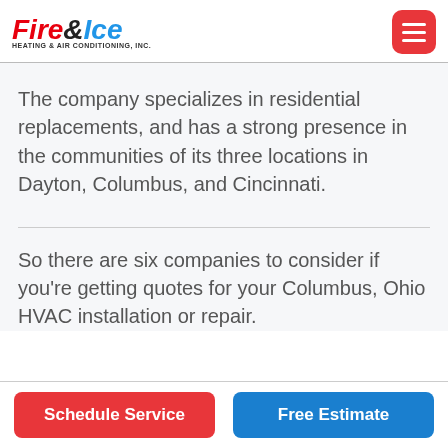[Figure (logo): Fire & Ice Heating & Air Conditioning, Inc. company logo with red and blue stylized text]
The company specializes in residential replacements, and has a strong presence in the communities of its three locations in Dayton, Columbus, and Cincinnati.
So there are six companies to consider if you're getting quotes for your Columbus, Ohio HVAC installation or repair.
Schedule Service | Free Estimate